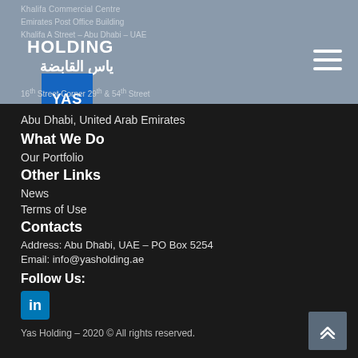[Figure (logo): Yas Holding logo with blue box containing YAS text, HOLDING in bold and Arabic ياس القابضة]
Khalifa Commercial Centre
16th Street Corner 29th & 54th Street
Abu Dhabi, United Arab Emirates
What We Do
Our Portfolio
Other Links
News
Terms of Use
Contacts
Address: Abu Dhabi, UAE – PO Box 5254
Email: info@yasholding.ae
Follow Us:
[Figure (logo): LinkedIn icon blue square]
Yas Holding – 2020 © All rights reserved.